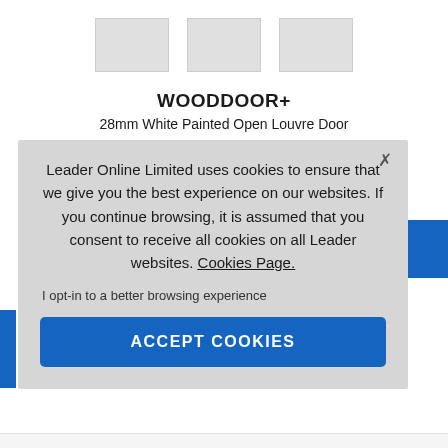[Figure (illustration): Three door product thumbnail images shown in a row at the top of the page]
WOODDOOR+
28mm White Painted Open Louvre Door
From £20
Leader Online Limited uses cookies to ensure that we give you the best experience on our websites. If you continue browsing, it is assumed that you consent to receive all cookies on all Leader websites. Cookies Page.
I opt-in to a better browsing experience
ACCEPT COOKIES